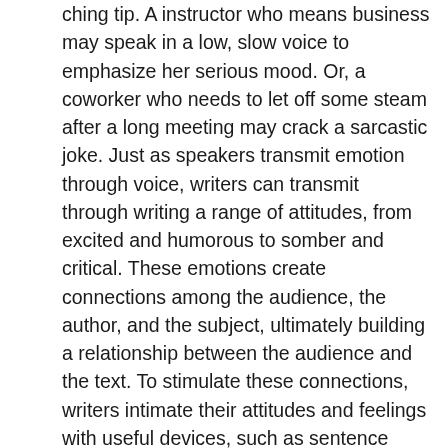ching tip. A instructor who means business may speak in a low, slow voice to emphasize her serious mood. Or, a coworker who needs to let off some steam after a long meeting may crack a sarcastic joke. Just as speakers transmit emotion through voice, writers can transmit through writing a range of attitudes, from excited and humorous to somber and critical. These emotions create connections among the audience, the author, and the subject, ultimately building a relationship between the audience and the text. To stimulate these connections, writers intimate their attitudes and feelings with useful devices, such as sentence structure, word choice, punctuation, and formal or informal language. Keep in mind that the writer's attitude should always appropriately match the audience and the purpose. Read the following paragraph and consider the writer's tone. How would you describe the writer's attitude toward wildlife